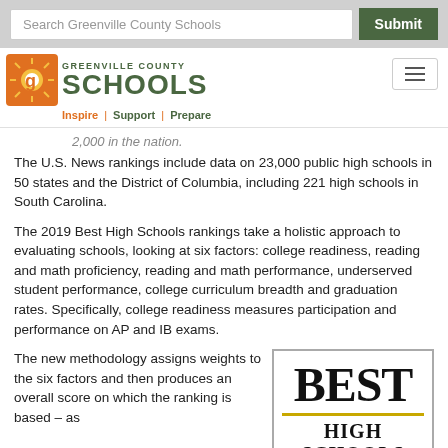Search Greenville County Schools [Submit]
[Figure (logo): Greenville County Schools logo with sun icon, text 'GREENVILLE COUNTY SCHOOLS', tagline 'Inspire | Support | Prepare']
2,000 in the nation.
The U.S. News rankings include data on 23,000 public high schools in 50 states and the District of Columbia, including 221 high schools in South Carolina.
The 2019 Best High Schools rankings take a holistic approach to evaluating schools, looking at six factors: college readiness, reading and math proficiency, reading and math performance, underserved student performance, college curriculum breadth and graduation rates. Specifically, college readiness measures participation and performance on AP and IB exams.
The new methodology assigns weights to the six factors and then produces an overall score on which the ranking is based – as
[Figure (illustration): Best High Schools badge/logo image with bold text 'BEST HIGH SCHOOLS' in black serif font with gold underline]